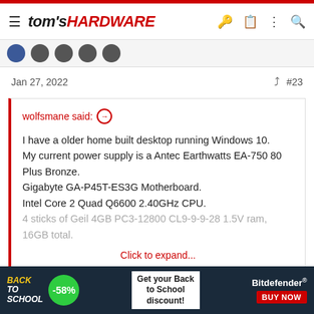tom's HARDWARE
Jan 27, 2022
#23
wolfsmane said: ↗

I have a older home built desktop running Windows 10.
My current power supply is a Antec Earthwatts EA-750 80 Plus Bronze.
Gigabyte GA-P45T-ES3G Motherboard.
Intel Core 2 Quad Q6600 2.40GHz CPU.
4 sticks of Geil 4GB PC3-12800 CL9-9-9-28 1.5V ram, 16GB total.

Click to expand...
My Recent build was on Core 2 Quad Q8400 8GB DDR3 and GT 1030 2GB GDDR5....
[Figure (infographic): Back to School advertisement banner with Bitdefender -58% discount promotion and Buy Now button]